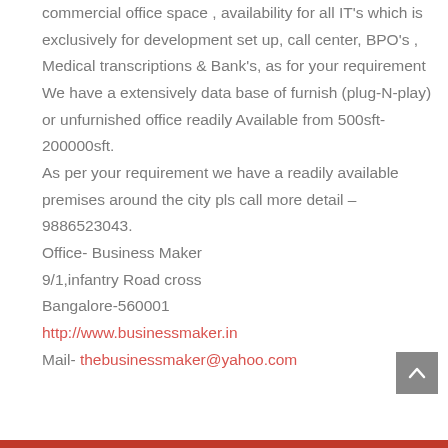commercial office space , availability for all IT's which is exclusively for development set up, call center, BPO's , Medical transcriptions & Bank's, as for your requirement We have a extensively data base of furnish (plug-N-play) or unfurnished office readily Available from 500sft- 200000sft.
As per your requirement we have a readily available premises around the city pls call more detail –
9886523043.
Office- Business Maker
9/1,infantry Road cross
Bangalore-560001
http://www.businessmaker.in
Mail- thebusinessmaker@yahoo.com